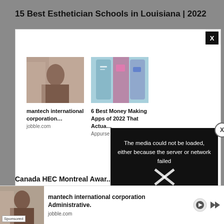15 Best Esthetician Schools in Louisiana | 2022
[Figure (screenshot): Advertisement modal overlay showing two sponsored ads: 'mantech international corporation...' from jobble.com and '6 Best Money Making Apps of 2022 That Actua...' from Appurse. A black box shows error message: 'The media could not be loaded, either because the server or network failed or because the format is not supported.' with an X icon. A close button (X) is at top right.]
Canada HEC Montreal Awar...
[Figure (screenshot): Bottom advertisement bar showing sponsored content for 'mantech international corporation Administrative.' from jobble.com with a person image, Sponsored label, and media playback controls.]